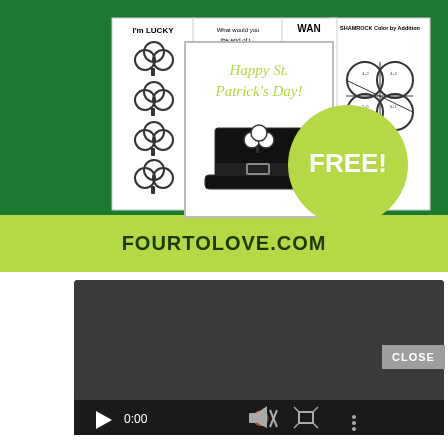[Figure (illustration): St. Patrick's Day free printable worksheets promotional image on dark green background. Shows multiple worksheet cards including 'I'm LUCKY', 'What would you...the end of t...', 'WAN...', 'SHAMROCK Color by Addition', and a central card with 'Happy St. Patrick's Day!' and a leprechaun hat with shamrock illustration. A large lime-green circle badge says 'FREE!' A lime-green banner at bottom reads 'FOURTOLOVE.COM'.]
[Figure (screenshot): Dark video player UI with play button, time showing 0:00, mute icon, fullscreen icon, and options icon. A gray 'CLOSE' button appears to the right.]